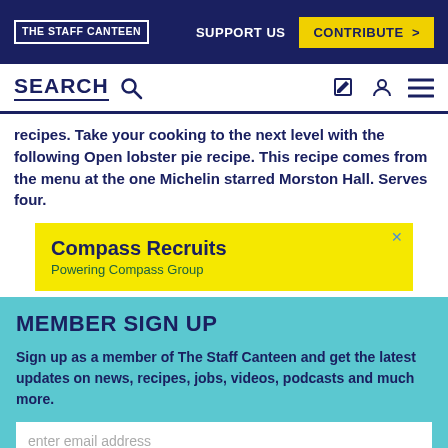THE STAFF CANTEEN | SUPPORT US | CONTRIBUTE >
SEARCH
recipes. Take your cooking to the next level with the following Open lobster pie recipe. This recipe comes from the menu at the one Michelin starred Morston Hall. Serves four.
[Figure (other): Advertisement banner for Compass Recruits - Powering Compass Group, yellow background]
MEMBER SIGN UP
Sign up as a member of The Staff Canteen and get the latest updates on news, recipes, jobs, videos, podcasts and much more.